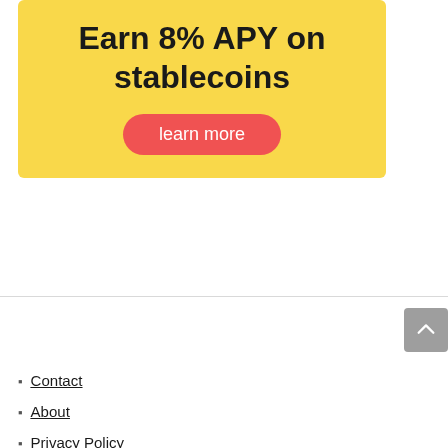[Figure (infographic): Yellow banner advertisement with text 'Earn 8% APY on stablecoins' and a red rounded button labeled 'learn more']
Contact
About
Privacy Policy